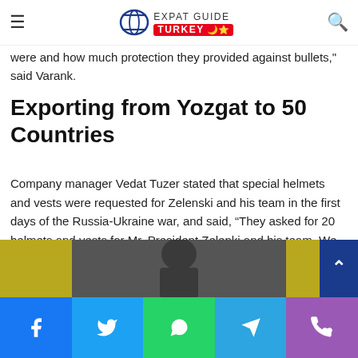Expat Guide Turkey
and found holes at the production facility, then examined the post-shot conditions of the equipment. "We shot both vests and helmets one by one, and saw how successful the products were and how much protection they provided against bullets," said Varank.
Exporting from Yozgat to 50 Countries
Company manager Vedat Tuzer stated that special helmets and vests were requested for Zelenski and his team in the first days of the Russia-Ukraine war, and said, “They asked for 20 helmets and vests for Mr. President Zelenki and his team. We sent a team, we watched TV with pleasure, the products we produced in Yozgat. We export to more than 50,000 countries,
[Figure (photo): Photo of a person, partially visible, with yellow/blue background colors]
Social share bar: Facebook, Twitter, WhatsApp, Telegram, Phone